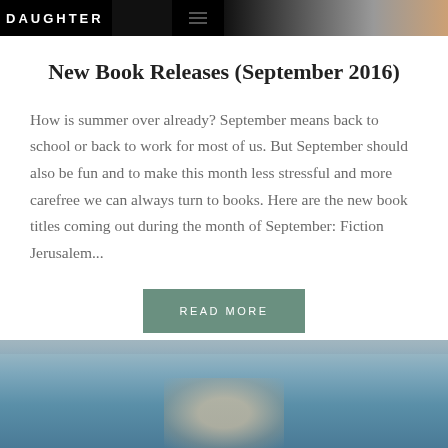DAUGHTER
New Book Releases (September 2016)
How is summer over already? September means back to school or back to work for most of us. But September should also be fun and to make this month less stressful and more carefree we can always turn to books. Here are the new book titles coming out during the month of September: Fiction Jerusalem...
[Figure (screenshot): READ MORE button — green/teal rectangular button with white uppercase spaced text]
[Figure (photo): Bottom portion of page showing a blue/teal background image, partial book cover or scenic photo with water tones]